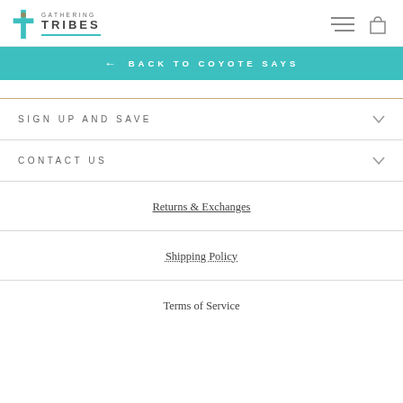Gathering Tribes
← BACK TO COYOTE SAYS
SIGN UP AND SAVE
CONTACT US
Returns & Exchanges
Shipping Policy
Terms of Service